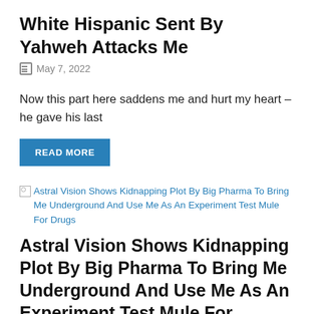White Hispanic Sent By Yahweh Attacks Me
May 7, 2022
Now this part here saddens me and hurt my heart – he gave his last
READ MORE
[Figure (other): Broken image thumbnail linking to article about Astral Vision Shows Kidnapping Plot By Big Pharma To Bring Me Underground And Use Me As An Experiment Test Mule For Drugs]
Astral Vision Shows Kidnapping Plot By Big Pharma To Bring Me Underground And Use Me As An Experiment Test Mule For